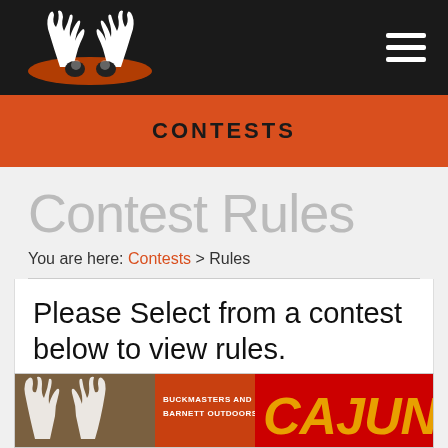[Figure (logo): Buckmasters deer antler logo in white on dark background, with orange oval accent]
CONTESTS
Contest Rules
You are here: Contests > Rules
Please Select from a contest below to view rules.
[Figure (photo): Buckmasters and Barnett Outdoors CAJUN contest promotional image with deer antlers and red text]